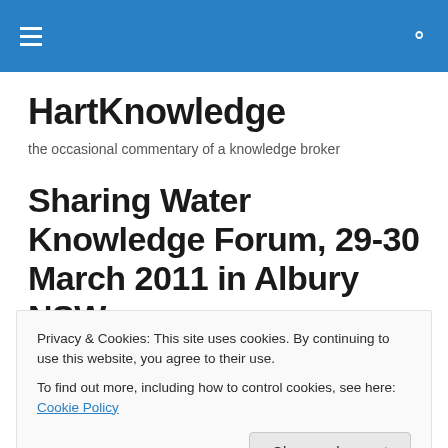HartKnowledge — navigation bar
HartKnowledge
the occasional commentary of a knowledge broker
Sharing Water Knowledge Forum, 29-30 March 2011 in Albury NSW
Privacy & Cookies: This site uses cookies. By continuing to use this website, you agree to their use.
To find out more, including how to control cookies, see here: Cookie Policy
their legacy after LWA closed down.